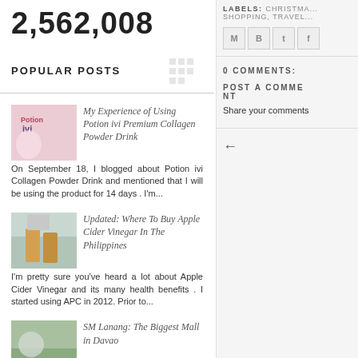2,562,008
POPULAR POSTS
My Experience of Using Potion ivi Premium Collagen Powder Drink
On September 18, I blogged about Potion ivi Collagen Powder Drink and mentioned that I will be using the product for 14 days . I'm...
Updated: Where To Buy Apple Cider Vinegar In The Philippines
I'm pretty sure you've heard a lot about Apple Cider Vinegar and its many health benefits . I started using APC in 2012. Prior to...
SM Lanang: The Biggest Mall in Davao
Davao is considered the second largest city in the country and
LABELS: CHRISTMAS, SHOPPING, TRAVEL
0 COMMENTS:
POST A COMMENT
Share your comments